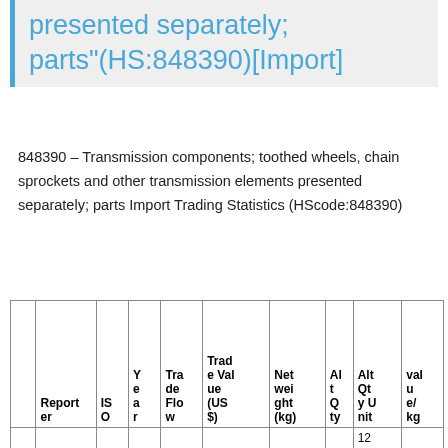presented separately; parts"(HS:848390)[Import]
848390 – Transmission components; toothed wheels, chain sprockets and other transmission elements presented separately; parts Import Trading Statistics (HScode:848390)
|  | Reporter | ISO | Year | Trade Flow | Trade Value (US$) | Net weight (kg) | Alt Qty | Alt Qty Unit | value/kg |
| --- | --- | --- | --- | --- | --- | --- | --- | --- | --- |
|  |  |  | 2 |  |  |  |  | 12 |  |